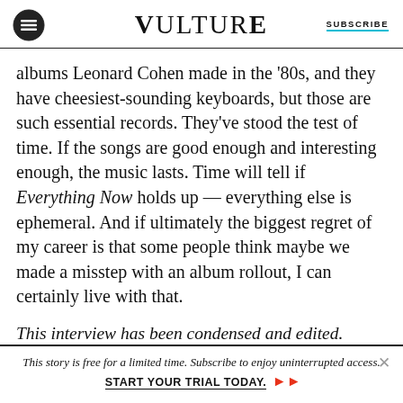VULTURE | SUBSCRIBE
albums Leonard Cohen made in the ’80s, and they have cheesiest-sounding keyboards, but those are such essential records. They’ve stood the test of time. If the songs are good enough and interesting enough, the music lasts. Time will tell if Everything Now holds up — everything else is ephemeral. And if ultimately the biggest regret of my career is that some people think maybe we made a misstep with an album rollout, I can certainly live with that.
This interview has been condensed and edited.
This story is free for a limited time. Subscribe to enjoy uninterrupted access. START YOUR TRIAL TODAY. »